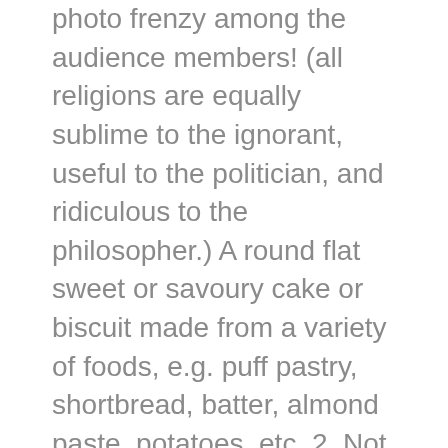photo frenzy among the audience members! (all religions are equally sublime to the ignorant, useful to the politician, and ridiculous to the philosopher.) A round flat sweet or savoury cake or biscuit made from a variety of foods, e.g. puff pastry, shortbread, batter, almond paste, potatoes, etc. 2. Not only does no register needed top rated dating online sites for men in las vegas this allow him to be an exceptional magic tank, it also makes him a superb user of ploy skills. Not all new technologies are bad, nor are all modules destined for failure. Then the question arises of how to define the community, and how much breaking down and crosscutting can happen in it. Thierry marx (2 star chef) and his team would like to offer you a savory 3 course meal (starter, main, and dessert) and a drink (a soft drink or glass of wine or beer) followed by a coffee. You also might battle against a new end boss depending on your difficulty. Divy the noodles up between bowls then grab your chopsticks and dive in!